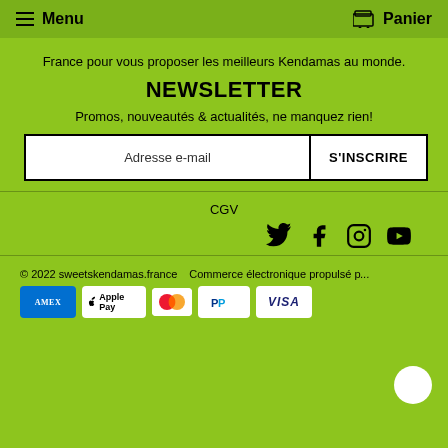Menu | Panier
France pour vous proposer les meilleurs Kendamas au monde.
NEWSLETTER
Promos, nouveautés & actualités, ne manquez rien!
Adresse e-mail | S'INSCRIRE
CGV
[Figure (infographic): Social media icons: Twitter, Facebook, Instagram, YouTube]
© 2022 sweetskendamas.france   Commerce électronique propulsé p...
[Figure (infographic): Payment method badges: AMEX, Apple Pay, Mastercard, PayPal, VISA]